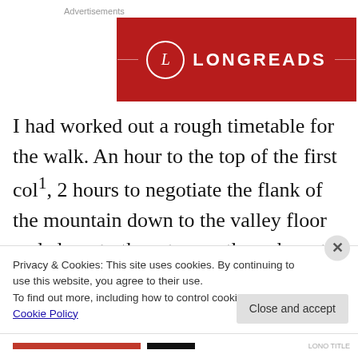Advertisements
[Figure (logo): Longreads logo on dark red background with decorative brackets and circle monogram L]
I had worked out a rough timetable for the walk. An hour to the top of the first col¹, 2 hours to negotiate the flank of the mountain down to the valley floor and along to the return path, an hour to the top of the next col and an hour from there to Bathie... I had a 7 hour time slot between buses so
Privacy & Cookies: This site uses cookies. By continuing to use this website, you agree to their use.
To find out more, including how to control cookies, see here: Cookie Policy
Close and accept